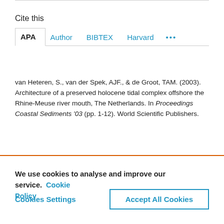Cite this
APA | Author | BIBTEX | Harvard | ...
van Heteren, S., van der Spek, AJF., & de Groot, TAM. (2003). Architecture of a preserved holocene tidal complex offshore the Rhine-Meuse river mouth, The Netherlands. In Proceedings Coastal Sediments '03 (pp. 1-12). World Scientific Publishers.
We use cookies to analyse and improve our service. Cookie Policy
Cookies Settings
Accept All Cookies